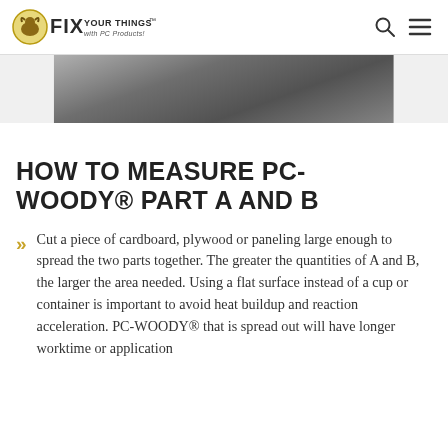FIX YOUR THINGS with PC Products
[Figure (photo): Close-up photo of a dark gray flat surface (likely cardboard or paneling), partially cropped, showing the edge of the material against a white background.]
HOW TO MEASURE PC-WOODY® PART A AND B
Cut a piece of cardboard, plywood or paneling large enough to spread the two parts together. The greater the quantities of A and B, the larger the area needed. Using a flat surface instead of a cup or container is important to avoid heat buildup and reaction acceleration. PC-WOODY® that is spread out will have longer worktime or application